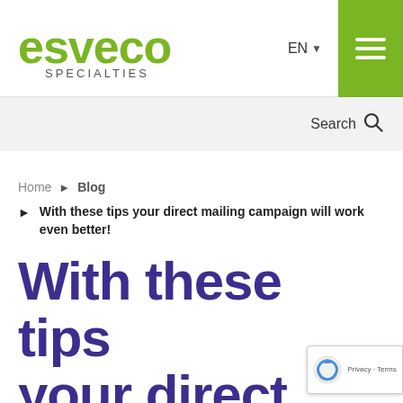esveco SPECIALTIES | EN | menu
Search
Home ► Blog
► With these tips your direct mailing campaign will work even better!
With these tips your direct mailing campaign will work even better!